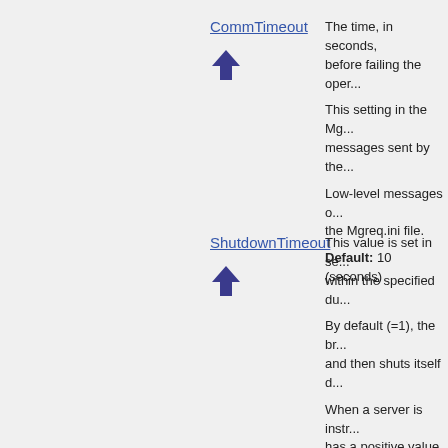CommTimeout
[Figure (illustration): Blue upward arrow icon]
The time, in seconds, before failing the oper... This setting in the Mg... messages sent by the... Low-level messages o... the Mgreq.ini file. Default: 10 (seconds)
ShutdownTimeout
[Figure (illustration): Blue upward arrow icon]
This value is set in se... within the specified du... By default (=1), the br... and then shuts itself d... When a server is instr... has a positive value, t... Termination internal e... termination logic. Syntax: ShutdownTim... Default: 1 (seconds)